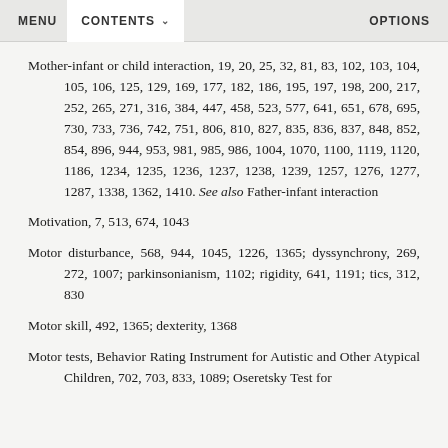MENU   CONTENTS   OPTIONS
Mother-infant or child interaction, 19, 20, 25, 32, 81, 83, 102, 103, 104, 105, 106, 125, 129, 169, 177, 182, 186, 195, 197, 198, 200, 217, 252, 265, 271, 316, 384, 447, 458, 523, 577, 641, 651, 678, 695, 730, 733, 736, 742, 751, 806, 810, 827, 835, 836, 837, 848, 852, 854, 896, 944, 953, 981, 985, 986, 1004, 1070, 1100, 1119, 1120, 1186, 1234, 1235, 1236, 1237, 1238, 1239, 1257, 1276, 1277, 1287, 1338, 1362, 1410. See also Father-infant interaction
Motivation, 7, 513, 674, 1043
Motor disturbance, 568, 944, 1045, 1226, 1365; dyssynchrony, 269, 272, 1007; parkinsonianism, 1102; rigidity, 641, 1191; tics, 312, 830
Motor skill, 492, 1365; dexterity, 1368
Motor tests, Behavior Rating Instrument for Autistic and Other Atypical Children, 702, 703, 833, 1089; Oseretsky Test for